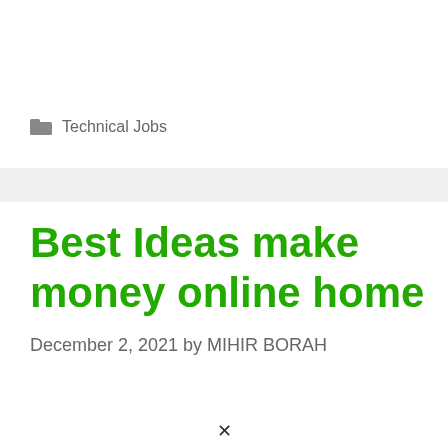Technical Jobs
Best Ideas make money online home
December 2, 2021 by MIHIR BORAH